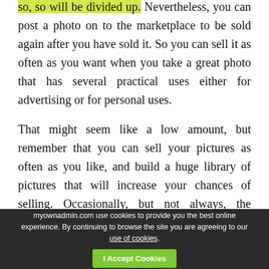so, so will be divided up. Nevertheless, you can post a photo on to the marketplace to be sold again after you have sold it. So you can sell it as often as you want when you take a great photo that has several practical uses either for advertising or for personal uses.

That might seem like a low amount, but remember that you can sell your pictures as often as you like, and build a huge library of pictures that will increase your chances of selling. Occasionally, but not always, the company purchases the exclusive image rights that you can not sell elsewhere or anywhere. But
myownadmin.com use cookies to provide you the best online experience. By continuing to browse the site you are agreeing to our use of cookies. | I Accept Cookies